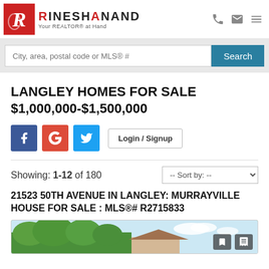[Figure (logo): Rinesh Anand real estate logo with red square icon and text 'RINESH ANAND - Your REALTOR® at Hand']
City, area, postal code or MLS® #
LANGLEY HOMES FOR SALE $1,000,000-$1,500,000
[Figure (infographic): Social login buttons: Facebook (blue), Google (red), Twitter (light blue), and Login / Signup button]
Showing: 1-12 of 180
21523 50TH AVENUE IN LANGLEY: MURRAYVILLE HOUSE FOR SALE : MLS®# R2715833
[Figure (photo): Partial photo of a house with trees and blue sky, with bookmark and contact icons in lower right corner]